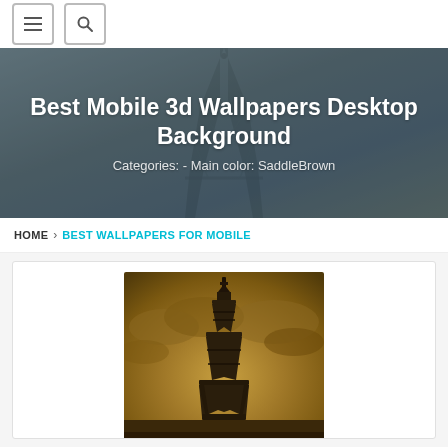[Figure (screenshot): Navigation bar with hamburger menu button and search button]
Best Mobile 3d Wallpapers Desktop Background
Categories: - Main color: SaddleBrown
HOME › BEST WALLPAPERS FOR MOBILE
[Figure (photo): Eiffel Tower photo with golden/sepia tone sky background, saddle brown color scheme]